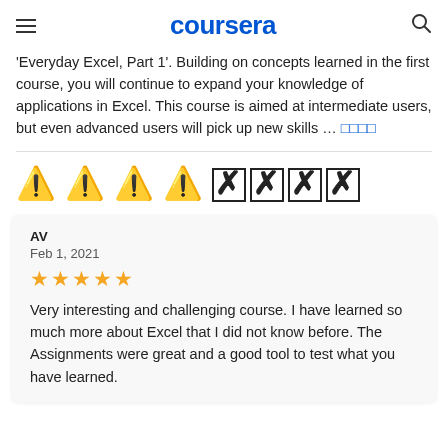coursera
'Everyday Excel, Part 1'. Building on concepts learned in the first course, you will continue to expand your knowledge of applications in Excel. This course is aimed at intermediate users, but even advanced users will pick up new skills … 𝓜𝓸𝓻𝓮
🔖📌📑🗂
AV
Feb 1, 2021
★★★★★
Very interesting and challenging course. I have learned so much more about Excel that I did not know before. The Assignments were great and a good tool to test what you have learned.